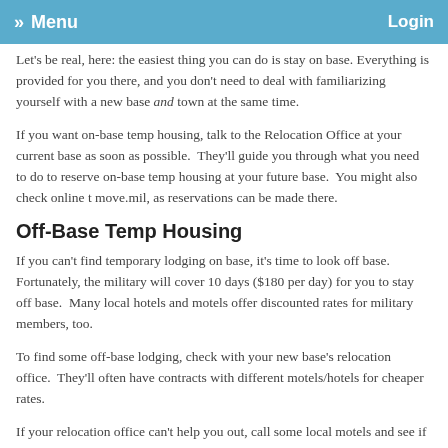» Menu   Login
Let's be real, here: the easiest thing you can do is stay on base. Everything is provided for you there, and you don't need to deal with familiarizing yourself with a new base and town at the same time.
If you want on-base temp housing, talk to the Relocation Office at your current base as soon as possible. They'll guide you through what you need to do to reserve on-base temp housing at your future base. You might also check online t move.mil, as reservations can be made there.
Off-Base Temp Housing
If you can't find temporary lodging on base, it's time to look off base. Fortunately, the military will cover 10 days ($180 per day) for you to stay off base. Many local hotels and motels offer discounted rates for military members, too.
To find some off-base lodging, check with your new base's relocation office. They'll often have contracts with different motels/hotels for cheaper rates.
If your relocation office can't help you out, call some local motels and see if they offer discounted rates for military members. We suggest running an Internet search for local hotels/motels and calling those